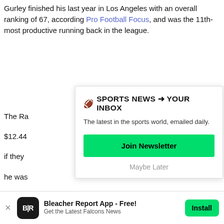Gurley finished his last year in Los Angeles with an overall ranking of 67, according to Pro Football Focus, and was the 11th-most productive running back in the league.
The Ra... $12.44... if they... he was... Atlanta... "prove... what k...
[Figure (infographic): Newsletter signup overlay: '🏈 SPORTS NEWS → YOUR INBOX', 'The latest in the sports world, emailed daily.', 'Join Newsletter' green button, 'Maybe Later' link]
[Figure (photo): Partially visible article thumbnail image, blurred brownish tones]
Bleacher Report App - Free! Get the Latest Falcons News — Install